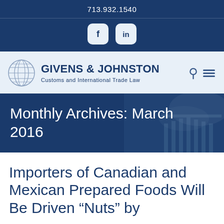713.932.1540
[Figure (logo): Social media icons bar with Facebook and LinkedIn icons on dark blue background]
[Figure (logo): Givens & Johnston Customs and International Trade Law logo with globe icon, search and menu icons]
Monthly Archives: March 2016
Importers of Canadian and Mexican Prepared Foods Will Be Driven “Nuts” by